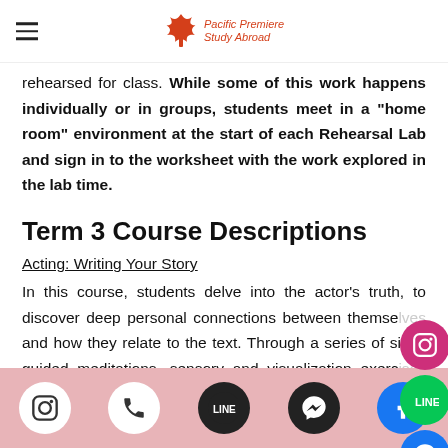Pacific Premiere Study Abroad
rehearsed for class. While some of this work happens individually or in groups, students meet in a “home room” environment at the start of each Rehearsal Lab and sign in to the worksheet with the work explored in the lab time.
Term 3 Course Descriptions
Acting: Writing Your Story
In this course, students delve into the actor’s truth, to discover deep personal connections between themselves and how they relate to the text. Through a series of silent guided meditations, sensory and visualization exercises and intensive writing sessions, students create a personal lives. This awakens their understanding of how each life